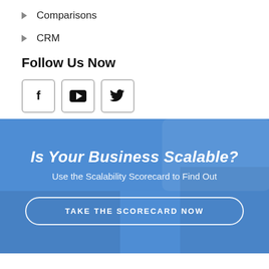Comparisons
CRM
Follow Us Now
[Figure (infographic): Three social media icon boxes: Facebook (f), YouTube (play button), Twitter (bird icon)]
[Figure (infographic): Blue promotional banner with overlaid photo background. Title: 'Is Your Business Scalable?' Subtitle: 'Use the Scalability Scorecard to Find Out'. Button: 'TAKE THE SCORECARD NOW']